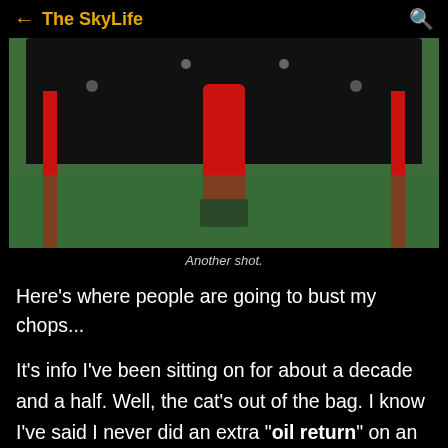← The SkyLife 🔍
[Figure (photo): Underside of a car engine/drivetrain assembly on a green workshop floor, with a prominent red cylindrical component in the center, supported by red stands.]
Another shot.
Here's where people are going to bust my chops...
It's info I've been sitting on for about a decade and a half. Well, the cat's out of the bag. I know I've said I never did an extra "oil return" on an RB26, and that's true. But I never said (I don't